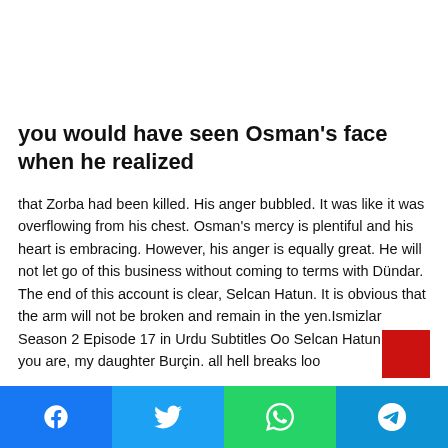you would have seen Osman's face when he realized
that Zorba had been killed. His anger bubbled. It was like it was overflowing from his chest. Osman's mercy is plentiful and his heart is embracing. However, his anger is equally great. He will not let go of this business without coming to terms with Dündar. The end of this account is clear, Selcan Hatun. It is obvious that the arm will not be broken and remain in the yen.Ismizlar Season 2 Episode 17 in Urdu Subtitles Oo Selcan Hatun Here you are, my daughter Burçin. all hell breaks loo